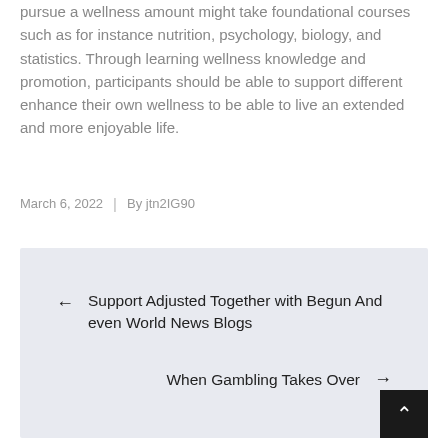pursue a wellness amount might take foundational courses such as for instance nutrition, psychology, biology, and statistics. Through learning wellness knowledge and promotion, participants should be able to support different enhance their own wellness to be able to live an extended and more enjoyable life.
March 6, 2022  |  By jtn2IG90
← Support Adjusted Together with Begun And even World News Blogs
When Gambling Takes Over →